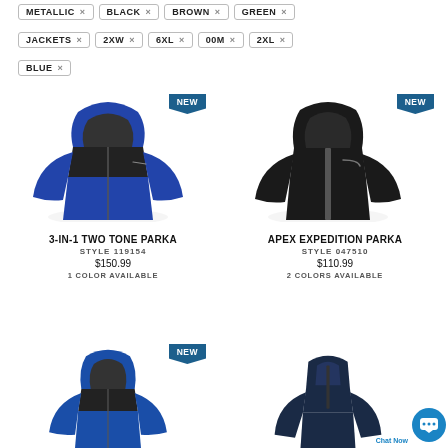METALLIC × BLACK × BROWN × GREEN ×
JACKETS × 2XW × 6XL × 00M × 2XL ×
BLUE ×
[Figure (photo): Blue and black two-tone hooded parka jacket with NEW badge]
3-IN-1 TWO TONE PARKA
STYLE 119154
$150.99
1 COLOR AVAILABLE
[Figure (photo): Black expedition parka jacket with NEW badge]
APEX EXPEDITION PARKA
STYLE 047510
$110.99
2 COLORS AVAILABLE
[Figure (photo): Blue hooded jacket partially shown with NEW badge]
[Figure (photo): Navy half-zip fleece jacket partially shown with Chat Now widget]